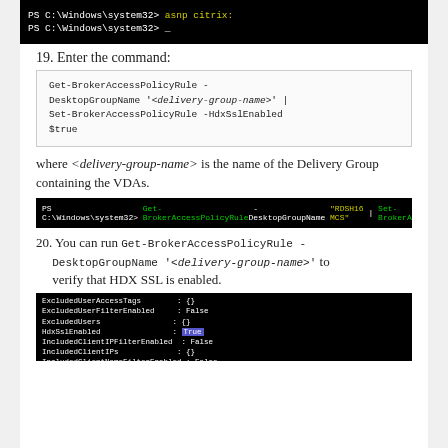[Figure (screenshot): Terminal window showing PS C:\Windows\system32> asnp citrix: prompt and PS C:\Windows\system32> _ cursor]
19. Enter the command:
Get-BrokerAccessPolicyRule -DesktopGroupName '<delivery-group-name>' | Set-BrokerAccessPolicyRule -HdxSslEnabled $true
where <delivery-group-name> is the name of the Delivery Group containing the VDAs.
[Figure (screenshot): Terminal showing Get-BrokerAccessPolicyRule -DesktopGroupName 'RDSH16 MCS' | Set-BrokerAccessPolicyRule -HdxSslEnabled $true]
20. You can run Get-BrokerAccessPolicyRule -DesktopGroupName '<delivery-group-name>' to verify that HDX SSL is enabled.
[Figure (screenshot): Terminal output showing broker policy rule properties including HdxSslEnabled: true highlighted]